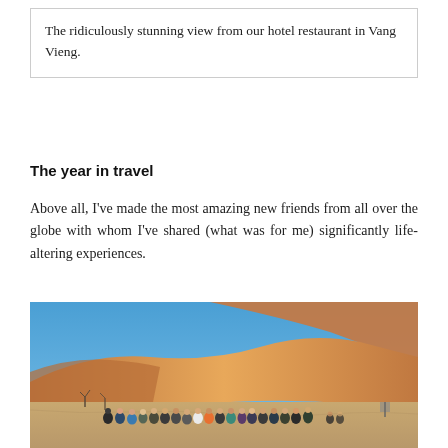The ridiculously stunning view from our hotel restaurant in Vang Vieng.
The year in travel
Above all, I've made the most amazing new friends from all over the globe with whom I've shared (what was for me) significantly life-altering experiences.
[Figure (photo): Group of approximately 20 people standing in front of large sand dunes under a clear blue sky, likely in Namibia (Sossusvlei/Namib desert). People are wearing outdoor/hiking clothing.]